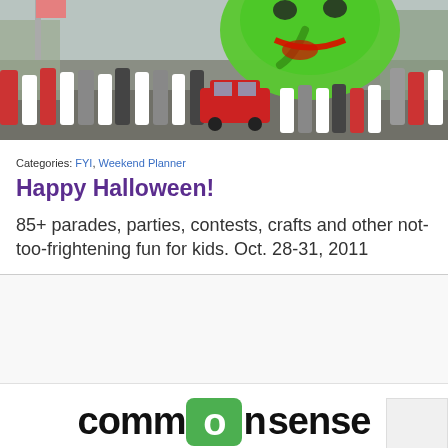[Figure (photo): Halloween parade photo showing a large green witch balloon/float above a crowd of people in the street, with cars and trees in the background.]
Categories: FYI, Weekend Planner
Happy Halloween!
85+ parades, parties, contests, crafts and other not-too-frightening fun for kids. Oct. 28-31, 2011
[Figure (logo): commonsense logo with green rounded square icon around the letter 'o' in 'on']